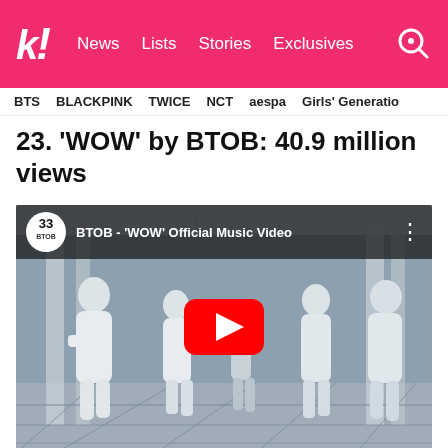k! News | Lists | Stories | Exclusives
BTS  BLACKPINK  TWICE  NCT  aespa  Girls' Generation
23. 'WOW' by BTOB: 40.9 million views
[Figure (screenshot): YouTube embedded video player showing BTOB 'WOW' Official Music Video. Video thumbnail shows the BTOB group performing in white outfits in a grand hall setting. YouTube play button (red circle with white triangle) overlaid in center.]